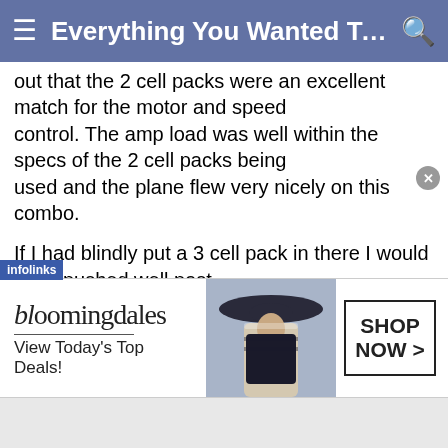≡ Everything You Wanted To Kno... 🔍
out that the 2 cell packs were an excellent match for the motor and speed control. The amp load was well within the specs of the 2 cell packs being used and the plane flew very nicely on this combo.
If I had blindly put a 3 cell pack in there I would have pushed well past the ESC's 27 amp rating and probably burned out the speed controller. Or, in the case of my 3 cell pack, it would probably have pushed over 30 amps into the system due to the higher voltage, but it was not
[Figure (screenshot): Bloomingdale's advertisement banner with model wearing wide-brim hat, 'View Today's Top Deals!' text, and 'SHOP NOW >' button. Infolinks tag visible at top-left.]